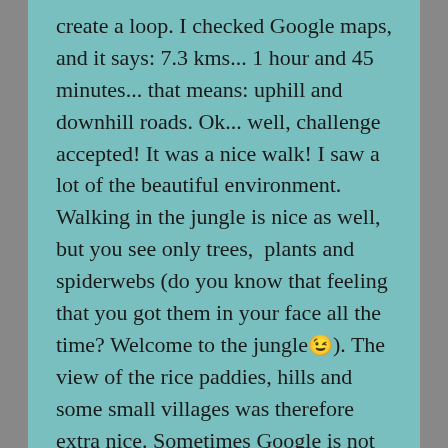create a loop. I checked Google maps, and it says: 7.3 kms... 1 hour and 45 minutes... that means: uphill and downhill roads. Ok... well, challenge accepted! It was a nice walk! I saw a lot of the beautiful environment. Walking in the jungle is nice as well, but you see only trees,  plants and spiderwebs (do you know that feeling that you got them in your face all the time? Welcome to the jungle😉). The view of the rice paddies, hills and some small villages was therefore extra nice. Sometimes Google is not really reliable... I almost got to my 'home' and suddenly it says: 3 kms, go back. Go back? No way, I was almost there, just another 1 km... but I didn't know wether I had to left or right at that T-junction. And